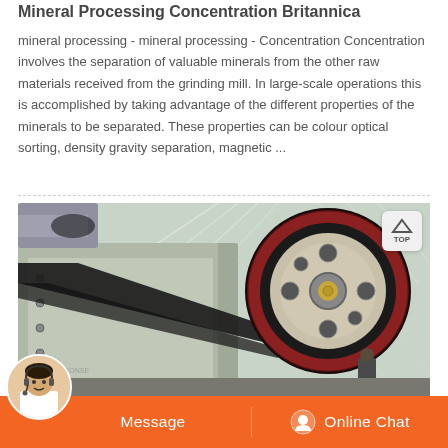Mineral Processing Concentration Britannica
mineral processing - mineral processing - Concentration Concentration involves the separation of valuable minerals from the other raw materials received from the grinding mill. In large-scale operations this is accomplished by taking advantage of the different properties of the minerals to be separated. These properties can be colour optical sorting, density gravity separation, magnetic ...
[Figure (photo): Industrial mineral processing machine — a large pulley/flywheel mechanism with belt drive, photographed inside an industrial facility with a translucent roof structure in the background.]
Message   Online Chat